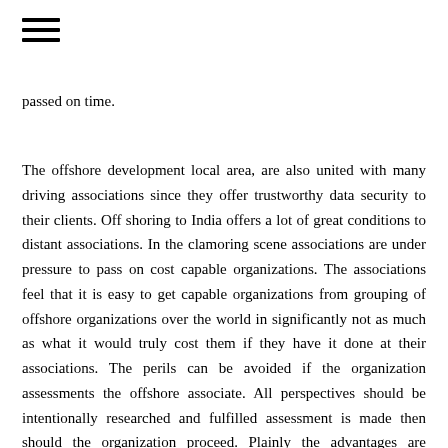≡
passed on time.
The offshore development local area, are also united with many driving associations since they offer trustworthy data security to their clients. Off shoring to India offers a lot of great conditions to distant associations. In the clamoring scene associations are under pressure to pass on cost capable organizations. The associations feel that it is easy to get capable organizations from grouping of offshore organizations over the world in significantly not as much as what it would truly cost them if they have it done at their associations. The perils can be avoided if the organization assessments the offshore associate. All perspectives should be intentionally researched and fulfilled assessment is made then should the organization proceed. Plainly the advantages are significantly more conspicuous as most affiliations even the smaller